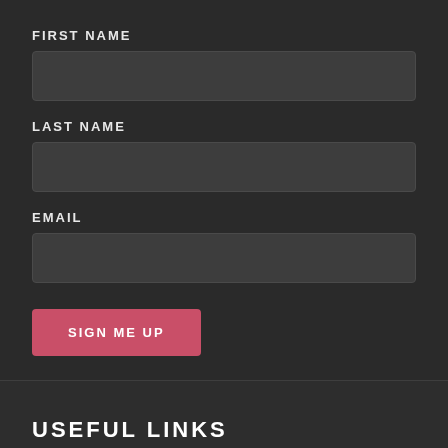FIRST NAME
[Figure (other): Text input field for First Name]
LAST NAME
[Figure (other): Text input field for Last Name]
EMAIL
[Figure (other): Text input field for Email]
SIGN ME UP
USEFUL LINKS